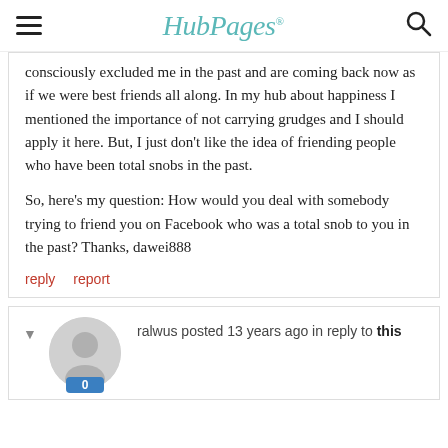HubPages
consciously excluded me in the past and are coming back now as if we were best friends all along. In my hub about happiness I mentioned the importance of not carrying grudges and I should apply it here. But, I just don't like the idea of friending people who have been total snobs in the past.

So, here's my question: How would you deal with somebody trying to friend you on Facebook who was a total snob to you in the past? Thanks, dawei888
reply   report
ralwus posted 13 years ago in reply to this